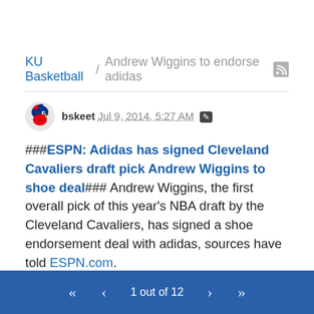KU Basketball / Andrew Wiggins to endorse adidas
bskeet Jul 9, 2014, 5:27 AM
###ESPN: Adidas has signed Cleveland Cavaliers draft pick Andrew Wiggins to shoe deal### Andrew Wiggins, the first overall pick of this year's NBA draft by the Cleveland Cavaliers, has signed a shoe endorsement deal with adidas, sources have told ESPN.com.
Sources with knowledge of the signing say the contract is a multiyear deal that comes with a guarantee of at least $2 million annually.
Wiggins wore adidas during his one year of college ball at the
1 out of 12